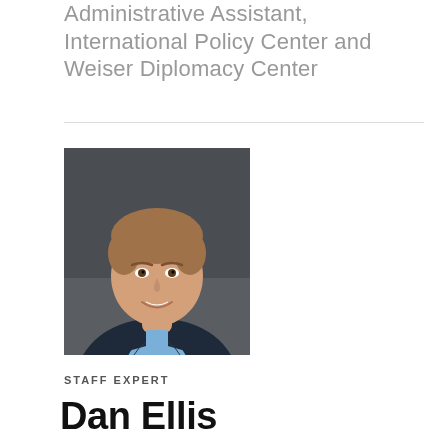Administrative Assistant, International Policy Center and Weiser Diplomacy Center
[Figure (photo): Professional headshot of a young man with light brown hair, wearing a dark navy blazer and light blue shirt, smiling, against a dark grey background]
STAFF EXPERT
Dan Ellis